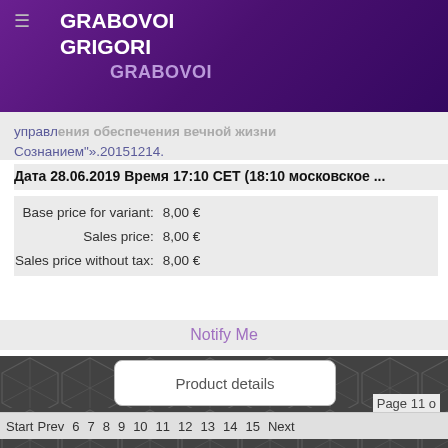GRABOVOI GRIGORI GRABOVOI
управления обеспечения вечной жизни Сознанием».20151214.
Дата 28.06.2019 Время 17:10 CET (18:10 московское ...
|  |  |
| --- | --- |
| Base price for variant: | 8,00 € |
| Sales price: | 8,00 € |
| Sales price without tax: | 8,00 € |
Notify Me
Product details
Start Prev 6 7 8 9 10 11 12 13 14 15 Next
Page 11 o
f FACEBOOK /